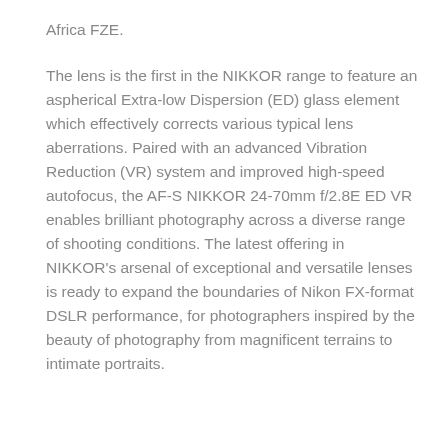Africa FZE.
The lens is the first in the NIKKOR range to feature an aspherical Extra-low Dispersion (ED) glass element which effectively corrects various typical lens aberrations. Paired with an advanced Vibration Reduction (VR) system and improved high-speed autofocus, the AF-S NIKKOR 24-70mm f/2.8E ED VR enables brilliant photography across a diverse range of shooting conditions. The latest offering in NIKKOR's arsenal of exceptional and versatile lenses is ready to expand the boundaries of Nikon FX-format DSLR performance, for photographers inspired by the beauty of photography from magnificent terrains to intimate portraits.